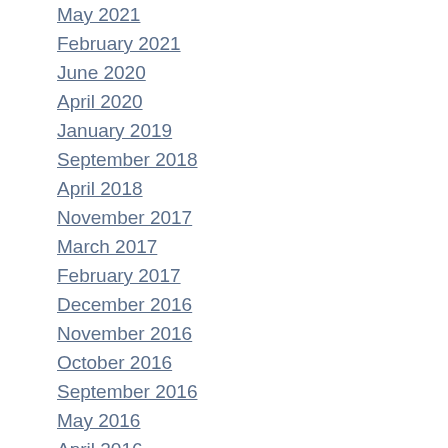May 2021
February 2021
June 2020
April 2020
January 2019
September 2018
April 2018
November 2017
March 2017
February 2017
December 2016
November 2016
October 2016
September 2016
May 2016
April 2016
November 2015
September 2015
August 2015